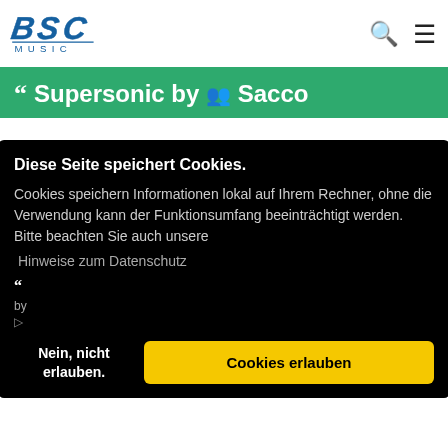[Figure (logo): BSC Music logo with stylized letters and 'MUSIC' text underneath]
" Supersonic by [person icon] Sacco
" Evolution
by [artist name]
[tag icon] [tag text]
Diese Seite speichert Cookies. Cookies speichern Informationen lokal auf Ihrem Rechner, ohne die Verwendung kann der Funktionsumfang beeinträchtigt werden. Bitte beachten Sie auch unsere Hinweise zum Datenschutz
Nein, nicht erlauben.
Cookies erlauben
" [song title 2]
by [artist]
[tag icon] [tag text]